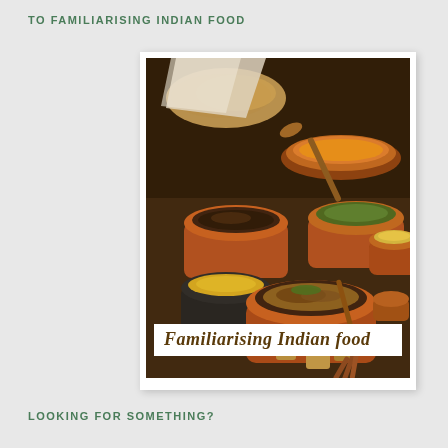TO FAMILIARISING INDIAN FOOD
[Figure (photo): Photo of Indian food spread: multiple copper and brass serving bowls filled with various curries, dals, and dishes, arranged on a wooden table, with a white banner overlay at the bottom reading 'Familiarising Indian food']
LOOKING FOR SOMETHING?